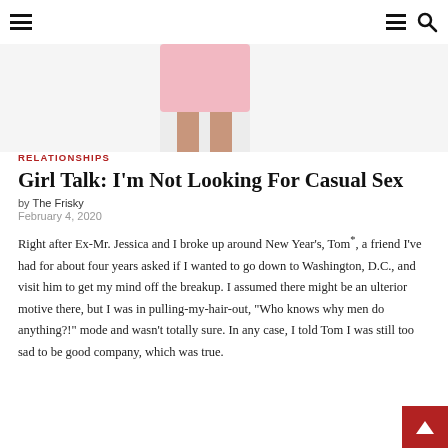≡  ≡ 🔍
[Figure (photo): Cropped photo of a person wearing a pink dress/skirt with bare legs, from waist down, against a white background]
RELATIONSHIPS
Girl Talk: I'm Not Looking For Casual Sex
by The Frisky
February 4, 2020
Right after Ex-Mr. Jessica and I broke up around New Year's, Tom*, a friend I've had for about four years asked if I wanted to go down to Washington, D.C., and visit him to get my mind off the breakup. I assumed there might be an ulterior motive there, but I was in pulling-my-hair-out, "Who knows why men do anything?!" mode and wasn't totally sure. In any case, I told Tom I was still too sad to be good company, which was true.